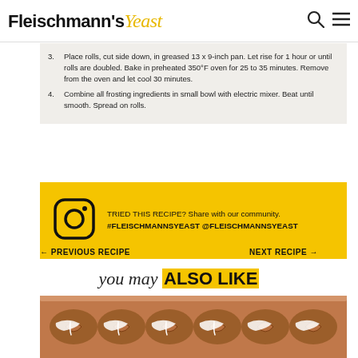Fleischmann's Yeast
3. Place rolls, cut side down, in greased 13 x 9-inch pan. Let rise for 1 hour or until rolls are doubled. Bake in preheated 350°F oven for 25 to 35 minutes. Remove from the oven and let cool 30 minutes.
4. Combine all frosting ingredients in small bowl with electric mixer. Beat until smooth. Spread on rolls.
TRIED THIS RECIPE? Share with our community. #FLEISCHMANNSYEAST @FLEISCHMANNSYEAST
← PREVIOUS RECIPE
NEXT RECIPE →
you may ALSO LIKE
[Figure (photo): Photo of cinnamon rolls with white icing in a baking pan]